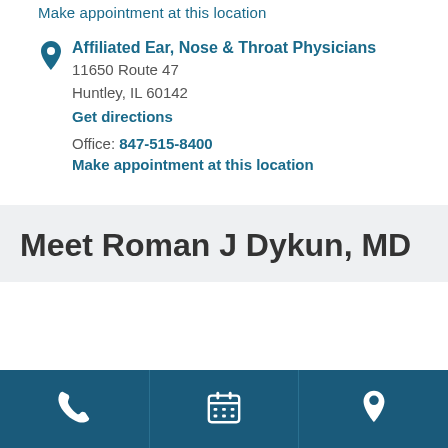Make appointment at this location
Affiliated Ear, Nose & Throat Physicians
11650 Route 47
Huntley, IL 60142
Get directions
Office: 847-515-8400
Make appointment at this location
Meet Roman J Dykun, MD
[Figure (infographic): Bottom navigation bar with three icons on dark teal background: phone icon, calendar icon, location pin icon]